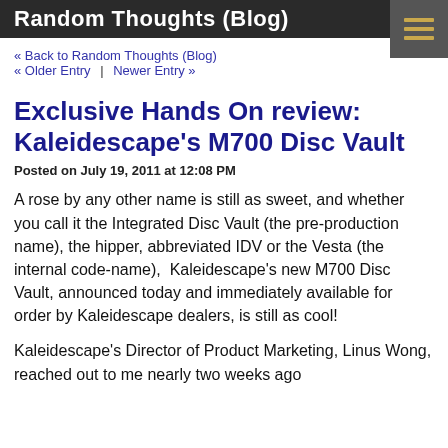Random Thoughts (Blog)
« Back to Random Thoughts (Blog)
« Older Entry  |  Newer Entry »
Exclusive Hands On review: Kaleidescape's M700 Disc Vault
Posted on July 19, 2011 at 12:08 PM
A rose by any other name is still as sweet, and whether you call it the Integrated Disc Vault (the pre-production name), the hipper, abbreviated IDV or the Vesta (the internal code-name),  Kaleidescape's new M700 Disc Vault, announced today and immediately available for order by Kaleidescape dealers, is still as cool!
Kaleidescape's Director of Product Marketing, Linus Wong, reached out to me nearly two weeks ago